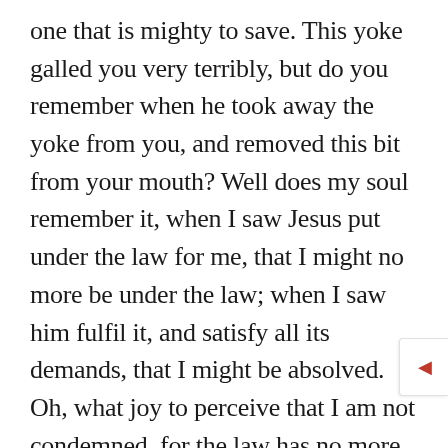one that is mighty to save. This yoke galled you very terribly, but do you remember when he took away the yoke from you, and removed this bit from your mouth? Well does my soul remember it, when I saw Jesus put under the law for me, that I might no more be under the law; when I saw him fulfil it, and satisfy all its demands, that I might be absolved. Oh, what joy to perceive that I am not condemned, for the law has no more dominion over me, and I am not under the law but under grace! Every one here who has believed in Jesus has received this